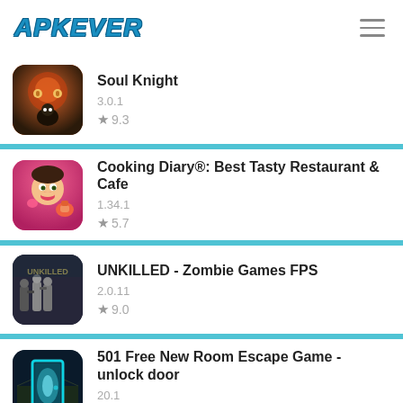APKEVER
Soul Knight
3.0.1
★ 9.3
Cooking Diary®: Best Tasty Restaurant & Cafe
1.34.1
★ 5.7
UNKILLED - Zombie Games FPS
2.0.11
★ 9.0
501 Free New Room Escape Game - unlock door
20.1
★ 8.5